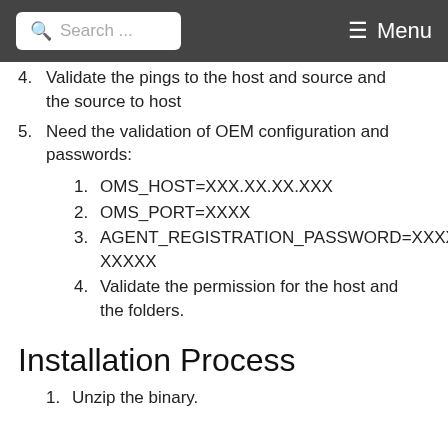Search ... Menu
4. Validate the pings to the host and source and the source to host
5. Need the validation of OEM configuration and passwords:
1. OMS_HOST=XXX.XX.XX.XXX
2. OMS_PORT=XXXX
3. AGENT_REGISTRATION_PASSWORD=XXXXXXXXXX
4. Validate the permission for the host and the folders.
Installation Process
1. Unzip the binary.